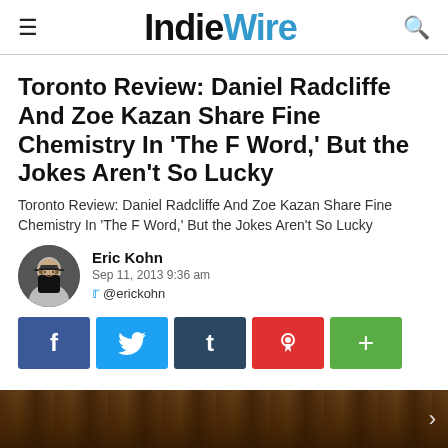IndieWire
Toronto Review: Daniel Radcliffe And Zoe Kazan Share Fine Chemistry In 'The F Word,' But the Jokes Aren't So Lucky
Toronto Review: Daniel Radcliffe And Zoe Kazan Share Fine Chemistry In 'The F Word,' But the Jokes Aren't So Lucky
Eric Kohn
Sep 11, 2013 9:36 am
@erickohn
[Figure (infographic): Social sharing buttons: Facebook (f), Twitter (bird), Tumblr (t), Pinterest (p), More (+)]
[Figure (photo): Dark wooden background image, partially visible at the bottom of the page]